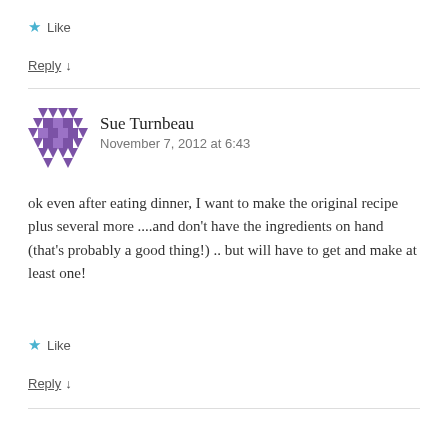★ Like
Reply ↓
[Figure (illustration): Purple geometric avatar icon for user Sue Turnbeau]
Sue Turnbeau
November 7, 2012 at 6:43
ok even after eating dinner, I want to make the original recipe plus several more ....and don't have the ingredients on hand (that's probably a good thing!) .. but will have to get and make at least one!
★ Like
Reply ↓